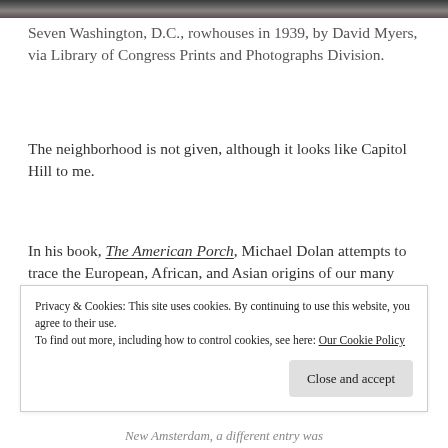[Figure (photo): Top strip of a black and white photograph showing Washington D.C. rowhouses]
Seven Washington, D.C., rowhouses in 1939, by David Myers, via Library of Congress Prints and Photographs Division.
The neighborhood is not given, although it looks like Capitol Hill to me.
In his book, The American Porch, Michael Dolan attempts to trace the European, African, and Asian origins of our many kinds of porches.
Privacy & Cookies: This site uses cookies. By continuing to use this website, you agree to their use.
To find out more, including how to control cookies, see here: Our Cookie Policy
New Amsterdam, a different entry was